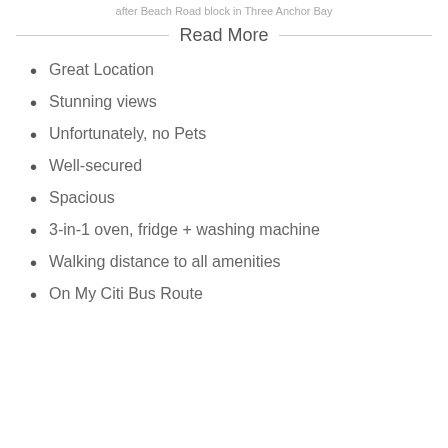after Beach Road block in Three Anchor Bay
Read More
Great Location
Stunning views
Unfortunately, no Pets
Well-secured
Spacious
3-in-1 oven, fridge + washing machine
Walking distance to all amenities
On My Citi Bus Route